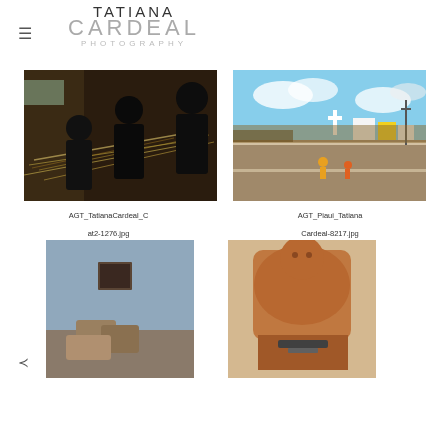[Figure (logo): Tatiana Cardeal Photography logo with hamburger menu icon]
[Figure (photo): People weaving palm leaves indoors, silhouetted figures working with plant fibers]
AGT_TatianaCardeal_Cat2-1276.jpg
[Figure (photo): Street scene with cobblestone road, small white buildings, children running, cloudy sky]
AGT_Piaui_TatianaCardeal-8217.jpg
[Figure (photo): Blue painted wall with small window and bags on the ground below]
[Figure (photo): Shirtless man working with tools, close-up portrait]